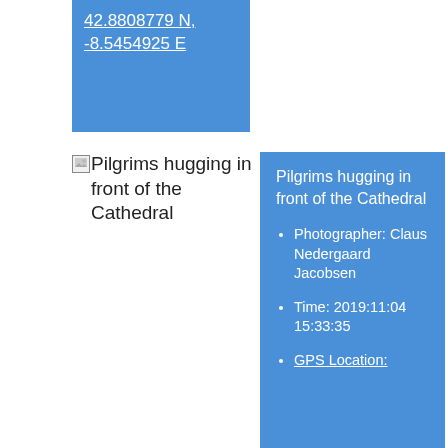42.8808779 N, -8.5454925 E
[Figure (photo): Broken image placeholder with caption: Pilgrims hugging in front of the Cathedral]
Pilgrims hugging in front of the Cathedral
Pilgrims hugging in front of the Cathedral
Photographer: Claus Nedergaard Jacobsen
Time: 2019:11:04 15:33:35
GPS Location: